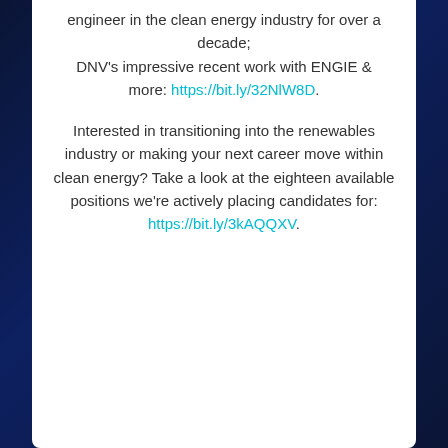engineer in the clean energy industry for over a decade; DNV's impressive recent work with ENGIE & more: https://bit.ly/32NlW8D.
Interested in transitioning into the renewables industry or making your next career move within clean energy? Take a look at the eighteen available positions we're actively placing candidates for: https://bit.ly/3kAQQXV.